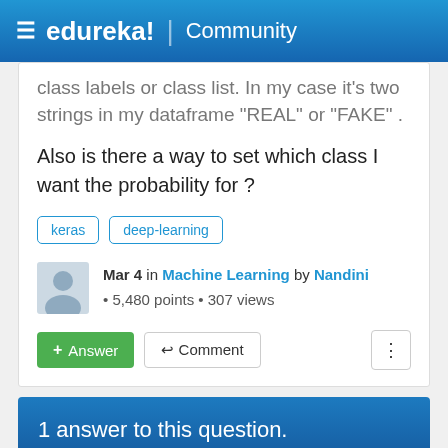edureka! | Community
class labels or class list. In my case it's two strings in my dataframe "REAL" or "FAKE" .
Also is there a way to set which class I want the probability for ?
keras
deep-learning
Mar 4 in Machine Learning by Nandini • 5,480 points • 307 views
1 answer to this question.